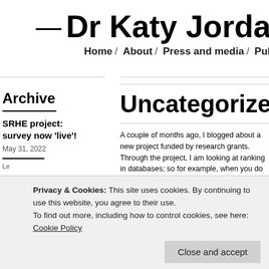— Dr Katy Jordan
Home / About / Press and media / Publ…
Archive
Uncategorized
SRHE project: survey now 'live'!
May 31, 2022
A couple of months ago, I blogged about a new project funded by research grants. Through the project, I am looking at ranking in databases; so for example, when you do a Google Scholar search with the 'most relevant' first. But, what does 'relevance mean li
Privacy & Cookies: This site uses cookies. By continuing to use this website, you agree to their use.
To find out more, including how to control cookies, see here: Cookie Policy
Close and accept